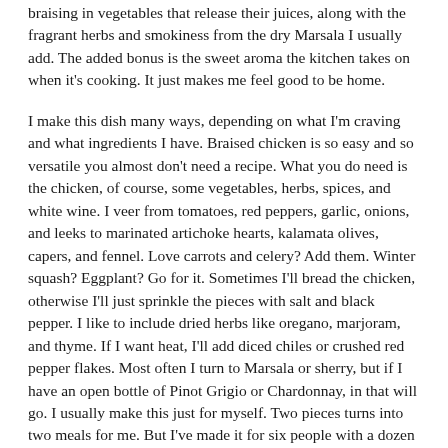braising in vegetables that release their juices, along with the fragrant herbs and smokiness from the dry Marsala I usually add. The added bonus is the sweet aroma the kitchen takes on when it's cooking. It just makes me feel good to be home.
I make this dish many ways, depending on what I'm craving and what ingredients I have. Braised chicken is so easy and so versatile you almost don't need a recipe. What you do need is the chicken, of course, some vegetables, herbs, spices, and white wine. I veer from tomatoes, red peppers, garlic, onions, and leeks to marinated artichoke hearts, kalamata olives, capers, and fennel. Love carrots and celery? Add them. Winter squash? Eggplant? Go for it. Sometimes I'll bread the chicken, otherwise I'll just sprinkle the pieces with salt and black pepper. I like to include dried herbs like oregano, marjoram, and thyme. If I want heat, I'll add diced chiles or crushed red pepper flakes. Most often I turn to Marsala or sherry, but if I have an open bottle of Pinot Grigio or Chardonnay, in that will go. I usually make this just for myself. Two pieces turns into two meals for me. But I've made it for six people with a dozen pieces and just added more ingredients to a larger pot. No problem. You may just